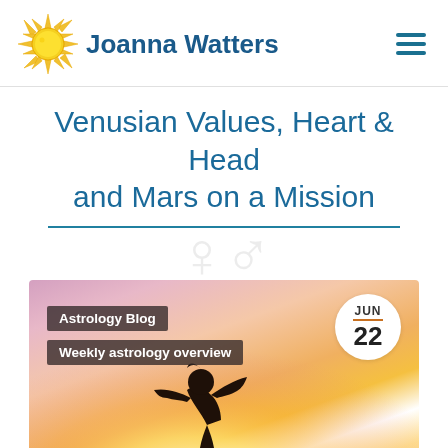Joanna Watters
Venusian Values, Heart & Head and Mars on a Mission
[Figure (photo): Blog post featured image showing a silhouette of a person with arms outstretched against a warm sunset background, with category labels 'Astrology Blog' and 'Weekly astrology overview', and a date badge showing JUN 22]
Astrology Blog | Weekly astrology overview | JUN 22